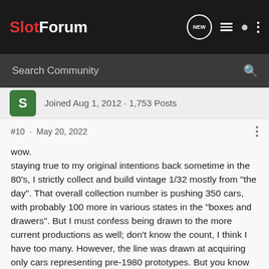SlotForum
Search Community
Joined Aug 1, 2012 · 1,753 Posts
#10 · May 20, 2022
wow.
staying true to my original intentions back sometime in the 80's, I strictly collect and build vintage 1/32 mostly from "the day". That overall collection number is pushing 350 cars, with probably 100 more in various states in the "boxes and drawers". But I must confess being drawn to the more current productions as well; don't know the count, I think I have too many. However, the line was drawn at acquiring only cars representing pre-1980 prototypes. But you know how that goes! Only a few exceptions, as the iconic supercars since then I had to have:
Ferrari 512...